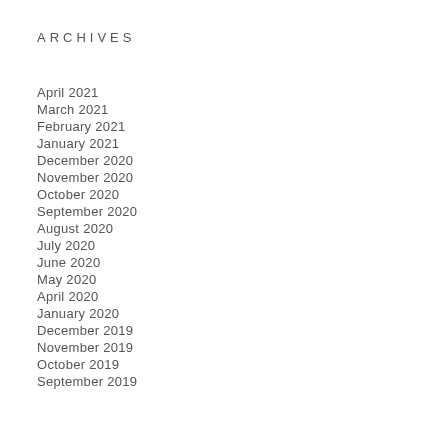ARCHIVES
April 2021
March 2021
February 2021
January 2021
December 2020
November 2020
October 2020
September 2020
August 2020
July 2020
June 2020
May 2020
April 2020
January 2020
December 2019
November 2019
October 2019
September 2019